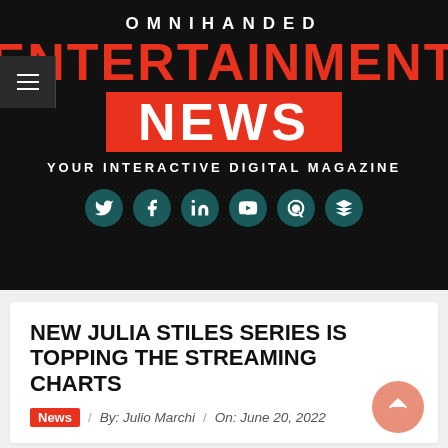OMNIHANDED ENTERTAINMENT NEWS — YOUR INTERACTIVE DIGITAL MAGAZINE
NEW JULIA STILES SERIES IS TOPPING THE STREAMING CHARTS
News / By: Julio Marchi / On: June 20, 2022